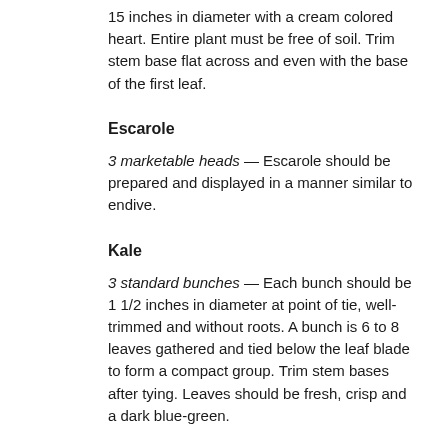15 inches in diameter with a cream colored heart. Entire plant must be free of soil. Trim stem base flat across and even with the base of the first leaf.
Escarole
3 marketable heads — Escarole should be prepared and displayed in a manner similar to endive.
Kale
3 standard bunches — Each bunch should be 1 1/2 inches in diameter at point of tie, well-trimmed and without roots. A bunch is 6 to 8 leaves gathered and tied below the leaf blade to form a compact group. Trim stem bases after tying. Leaves should be fresh, crisp and a dark blue-green.
Kohlrabi
3 standard bunches, 4 plants per bunch — Petioles of 4